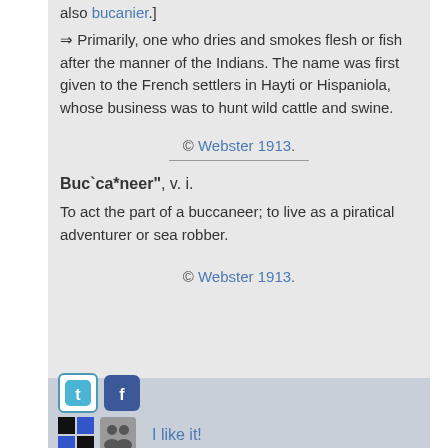also bucanier.]
⇒ Primarily, one who dries and smokes flesh or fish after the manner of the Indians. The name was first given to the French settlers in Hayti or Hispaniola, whose business was to hunt wild cattle and swine.
© Webster 1913.
Buc`ca*neer", v. i.
To act the part of a buccaneer; to live as a piratical adventurer or sea robber.
© Webster 1913.
[Figure (infographic): Social sharing bar with Twitter, Facebook, Delicious, and a people icon, plus 'I like it!' text]